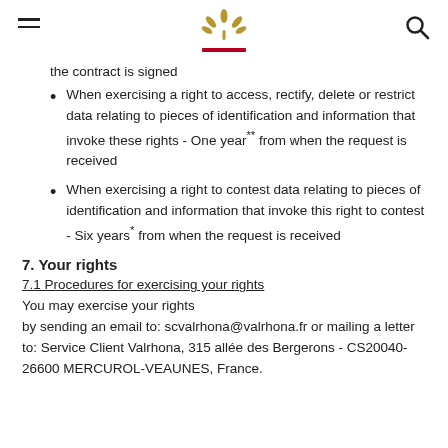[Valrhona logo and navigation header]
the contract is signed
When exercising a right to access, rectify, delete or restrict data relating to pieces of identification and information that invoke these rights - One year** from when the request is received
When exercising a right to contest data relating to pieces of identification and information that invoke this right to contest - Six years* from when the request is received
7. Your rights
7.1 Procedures for exercising your rights
You may exercise your rights by sending an email to: scvalrhona@valrhona.fr or mailing a letter to: Service Client Valrhona, 315 allée des Bergerons - CS20040- 26600 MERCUROL-VEAUNES, France.